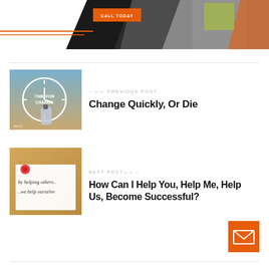[Figure (illustration): Top banner with black background, orange call today button, construction worker photo clipped with diagonal shapes and orange accent lines]
[Figure (photo): Clock with 'TIME FOR CHANGE' text, hand drawing on clock face, blue-grey background]
← PREVIOUS POST
Change Quickly, Or Die
[Figure (photo): Cork board with note saying 'by helping others...we help ourselves' with orange push pin]
NEXT POST →
How Can I Help You, Help Me, Help Us, Become Successful?